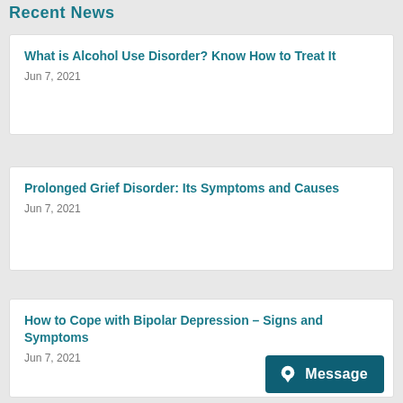Recent News
What is Alcohol Use Disorder? Know How to Treat It
Jun 7, 2021
Prolonged Grief Disorder: Its Symptoms and Causes
Jun 7, 2021
How to Cope with Bipolar Depression – Signs and Symptoms
Jun 7, 2021